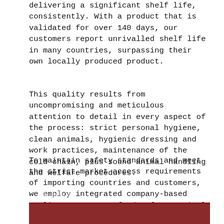delivering a significant shelf life, consistently. With a product that is validated for over 140 days, our customers report unrivalled shelf life in many countries, surpassing their own locally produced product.
This quality results from uncompromising and meticulous attention to detail in every aspect of the process: strict personal hygiene, clean animals, hygienic dressing and work practices, maintenance of the cold chain, plus sound animal handling and welfare procedures.
To maintain safety standards and meet the strict market access requirements of importing countries and customers, we employ integrated company-based quality assurance, food safety, animal and product tracking systems.
[Figure (other): Dark red/maroon colored banner with large decorative quotation marks in light color at bottom left]